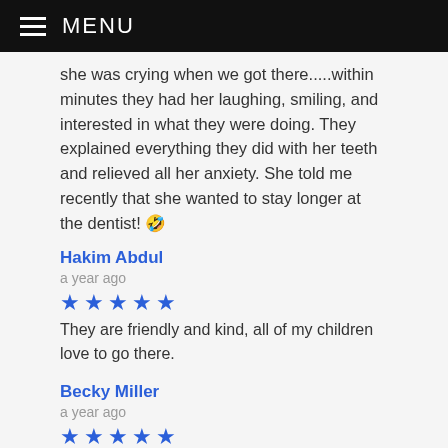MENU
she was crying when we got there.....within minutes they had her laughing, smiling, and interested in what they were doing. They explained everything they did with her teeth and relieved all her anxiety. She told me recently that she wanted to stay longer at the dentist! 🤣
Hakim Abdul
a year ago
★★★★★ They are friendly and kind, all of my children love to go there.
Becky Miller
a year ago
★★★★★ Growing Smiles is